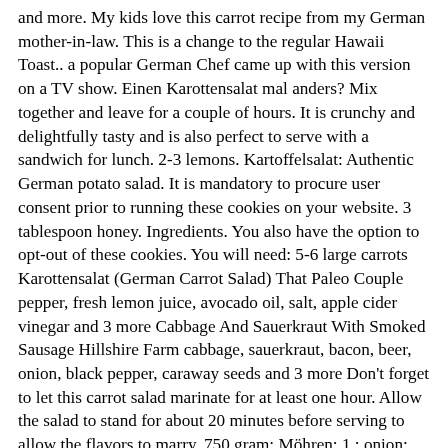and more. My kids love this carrot recipe from my German mother-in-law. This is a change to the regular Hawaii Toast.. a popular German Chef came up with this version on a TV show. Einen Karottensalat mal anders? Mix together and leave for a couple of hours. It is crunchy and delightfully tasty and is also perfect to serve with a sandwich for lunch. 2-3 lemons. Kartoffelsalat: Authentic German potato salad. It is mandatory to procure user consent prior to running these cookies on your website. 3 tablespoon honey. Ingredients. You also have the option to opt-out of these cookies. You will need: 5-6 large carrots Karottensalat (German Carrot Salad) That Paleo Couple pepper, fresh lemon juice, avocado oil, salt, apple cider vinegar and 3 more Cabbage And Sauerkraut With Smoked Sausage Hillshire Farm cabbage, sauerkraut, bacon, beer, onion, black pepper, caraway seeds and 3 more Don't forget to let this carrot salad marinate for at least one hour. Allow the salad to stand for about 20 minutes before serving to allow the flavors to marry. 750 gram: Möhren: 1 : onion: 1/2 measuring cup: olive oil: 1/2 measuring cup: lemon juice: 1/2 measuring cup: Balsamikoessig weiß: 1 measuring cup: water : 5 squeeze 1/4 cup vegetable oil. DIRECTIONS Peel, then shred the carrots with a grater. Discover delicious and easy to prepare carrot salad recipes from the expert chefs at Food Network. Mix all ingredients together and let marinate for 1/2 â¦ Thanks so much! And seeing as how I've shared recipes for Classic Potato Salad and Herb + Greek Yogurt Potato Salad and German